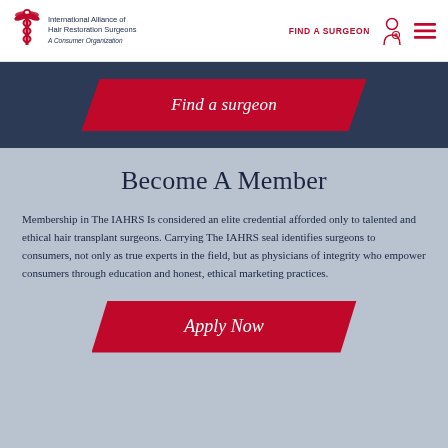International Alliance of Hair Restoration Surgeons A Consumer Organization | FIND A SURGEON
[Figure (screenshot): IAHRS logo with caduceus-like symbol and organization name]
Find a surgeon
Become A Member
Membership in The IAHRS Is considered an elite credential afforded only to talented and ethical hair transplant surgeons. Carrying The IAHRS seal identifies surgeons to consumers, not only as true experts in the field, but as physicians of integrity who empower consumers through education and honest, ethical marketing practices.
Apply Now